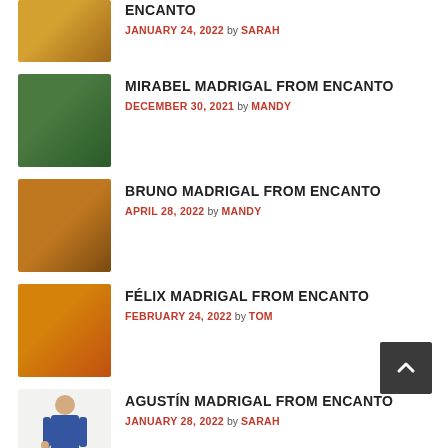ENCANTO - JANUARY 24, 2022 by SARAH
MIRABEL MADRIGAL FROM ENCANTO - DECEMBER 30, 2021 by MANDY
BRUNO MADRIGAL FROM ENCANTO - APRIL 28, 2022 by MANDY
FÉLIX MADRIGAL FROM ENCANTO - FEBRUARY 24, 2022 by TOM
AGUSTÍN MADRIGAL FROM ENCANTO - JANUARY 28, 2022 by SARAH
WANDAVISION